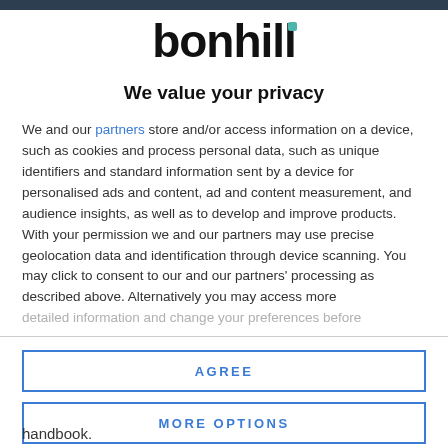bonhill
We value your privacy
We and our partners store and/or access information on a device, such as cookies and process personal data, such as unique identifiers and standard information sent by a device for personalised ads and content, ad and content measurement, and audience insights, as well as to develop and improve products. With your permission we and our partners may use precise geolocation data and identification through device scanning. You may click to consent to our and our partners' processing as described above. Alternatively you may access more detailed information and change your preferences before consenting
AGREE
MORE OPTIONS
handbook.